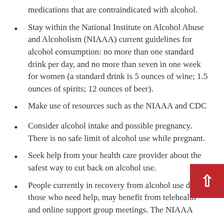medications that are contraindicated with alcohol.
Stay within the National Institute on Alcohol Abuse and Alcoholism (NIAAA) current guidelines for alcohol consumption: no more than one standard drink per day, and no more than seven in one week for women (a standard drink is 5 ounces of wine; 1.5 ounces of spirits; 12 ounces of beer).
Make use of resources such as the NIAAA and CDC
Consider alcohol intake and possible pregnancy. There is no safe limit of alcohol use while pregnant.
Seek help from your health care provider about the safest way to cut back on alcohol use.
People currently in recovery from alcohol use dis or those who need help, may benefit from telehealth and online support group meetings. The NIAAA